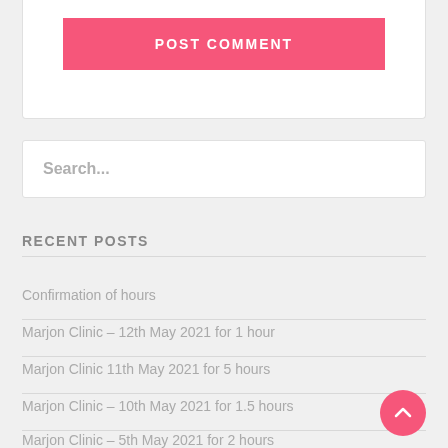[Figure (screenshot): POST COMMENT button — pink/salmon rounded rectangle with white bold uppercase text]
Search...
RECENT POSTS
Confirmation of hours
Marjon Clinic – 12th May 2021 for 1 hour
Marjon Clinic 11th May 2021 for 5 hours
Marjon Clinic – 10th May 2021 for 1.5 hours
Marjon Clinic – 5th May 2021 for 2 hours